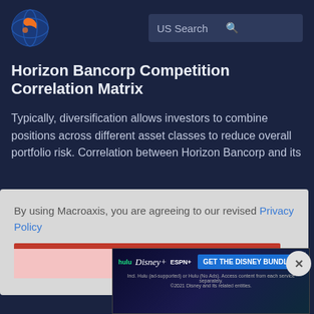[Figure (logo): Macroaxis globe logo with orange and blue colors]
US Search
Horizon Bancorp Competition Correlation Matrix
Typically, diversification allows investors to combine positions across different asset classes to reduce overall portfolio risk. Correlation between Horizon Bancorp and its ... between ... ation of
By using Macroaxis, you are agreeing to our revised Privacy Policy
OK
1.0
[Figure (screenshot): Disney Bundle advertisement banner showing Hulu, Disney+, and ESPN+ logos with 'GET THE DISNEY BUNDLE' call to action. Fine print: Incl. Hulu (ad-supported) or Hulu (No Ads). Access content from each service separately. ©2021 Disney and its related entities.]
the